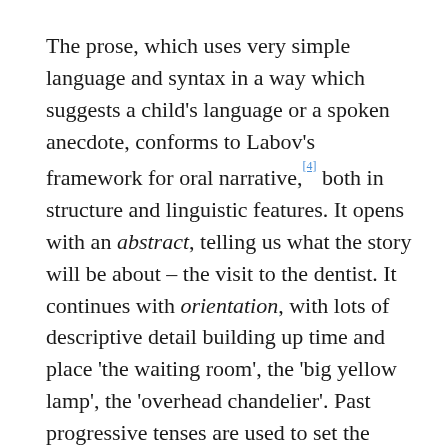The prose, which uses very simple language and syntax in a way which suggests a child's language or a spoken anecdote, conforms to Labov's framework for oral narrative,[4] both in structure and linguistic features. It opens with an abstract, telling us what the story will be about – the visit to the dentist. It continues with orientation, with lots of descriptive detail building up time and place 'the waiting room', the 'big yellow lamp', the 'overhead chandelier'. Past progressive tenses are used to set the scene: 'It was still getting dark early', 'There were others were waiting'. These are succeeded by simple past verbs indicating that the complicating action of the story has begun;